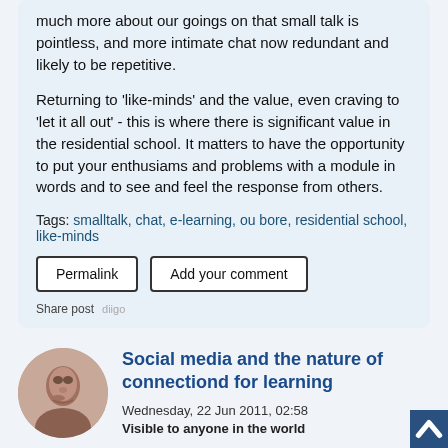much more about our goings on that small talk is pointless, and more intimate chat now redundant and likely to be repetitive.
Returning to 'like-minds' and the value, even craving to 'let it all out' - this is where there is significant value in the residential school. It matters to have the opportunity to put your enthusiams and problems with a module in words and to see and feel the response from others.
Tags: smalltalk, chat, e-learning, ou bore, residential school, like-minds
Permalink | Add your comment
Share post
Social media and the nature of connectiond for learning
Wednesday, 22 Jun 2011, 02:58
Visible to anyone in the world